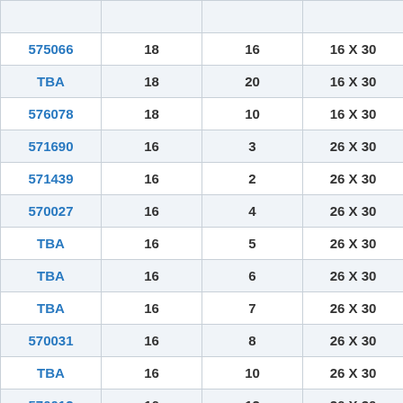|  |  |  |  |
| 575066 | 18 | 16 | 16 X 30 |
| TBA | 18 | 20 | 16 X 30 |
| 576078 | 18 | 10 | 16 X 30 |
| 571690 | 16 | 3 | 26 X 30 |
| 571439 | 16 | 2 | 26 X 30 |
| 570027 | 16 | 4 | 26 X 30 |
| TBA | 16 | 5 | 26 X 30 |
| TBA | 16 | 6 | 26 X 30 |
| TBA | 16 | 7 | 26 X 30 |
| 570031 | 16 | 8 | 26 X 30 |
| TBA | 16 | 10 | 26 X 30 |
| 570012 | 16 | 12 | 26 X 30 |